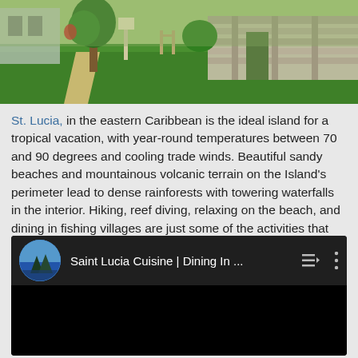[Figure (photo): Outdoor scene of historic stone ruins with green lawn and trees under bright sky]
St. Lucia, in the eastern Caribbean is the ideal island for a tropical vacation, with year-round temperatures between 70 and 90 degrees and cooling trade winds. Beautiful sandy beaches and mountainous volcanic terrain on the Island's perimeter lead to dense rainforests with towering waterfalls in the interior. Hiking, reef diving, relaxing on the beach, and dining in fishing villages are just some of the activities that make St. Lucia a premier Caribbean vacation destination.
[Figure (screenshot): YouTube video embed showing 'Saint Lucia Cuisine | Dining In ...' with circular thumbnail of Piton mountains]